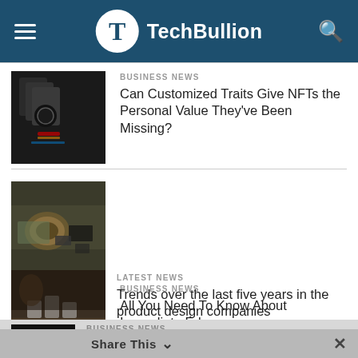TechBullion
BUSINESS NEWS
Can Customized Traits Give NFTs the Personal Value They've Been Missing?
BUSINESS NEWS
All You Need To Know About Immediate Edge
LATEST NEWS
Trends over the last five years in the product design companies
BUSINESS NEWS
Huge Potential For Drone Application
Share This